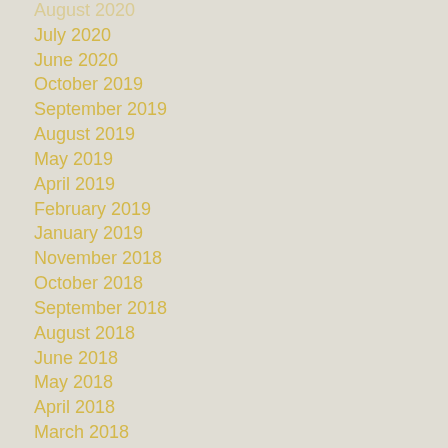August 2020
July 2020
June 2020
October 2019
September 2019
August 2019
May 2019
April 2019
February 2019
January 2019
November 2018
October 2018
September 2018
August 2018
June 2018
May 2018
April 2018
March 2018
February 2018
January 2018
December 2017
November 2017